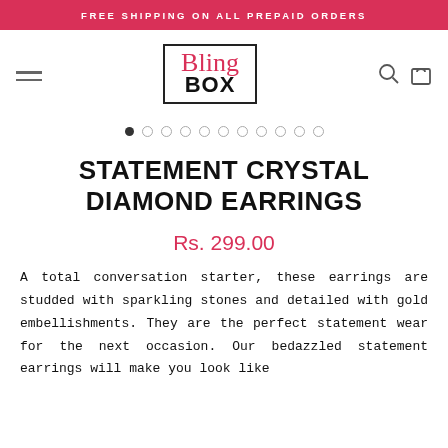FREE SHIPPING ON ALL PREPAID ORDERS
[Figure (logo): Bling Box logo — stylized pink cursive 'Bling' above bold black 'BOX' inside a rectangular border]
STATEMENT CRYSTAL DIAMOND EARRINGS
Rs. 299.00
A total conversation starter, these earrings are studded with sparkling stones and detailed with gold embellishments. They are the perfect statement wear for the next occasion. Our bedazzled statement earrings will make you look like